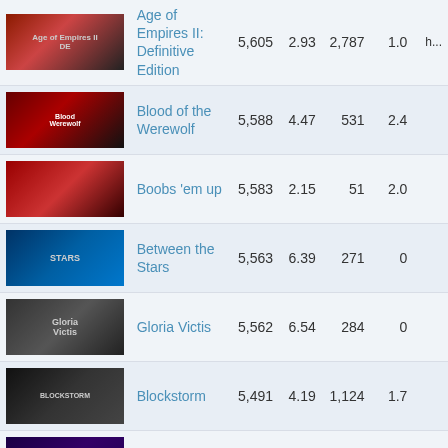| Image | Game | Col1 | Col2 | Col3 | Col4 | Col5 |
| --- | --- | --- | --- | --- | --- | --- |
| [img] | Age of Empires II: Definitive Edition | 5,605 | 2.93 | 2,787 | 1.0 | h... |
| [img] | Blood of the Werewolf | 5,588 | 4.47 | 531 | 2.4 |  |
| [img] | Boobs 'em up | 5,583 | 2.15 | 51 | 2.0 |  |
| [img] | Between the Stars | 5,563 | 6.39 | 271 | 0 |  |
| [img] | Gloria Victis | 5,562 | 6.54 | 284 | 0 |  |
| [img] | Blockstorm | 5,491 | 4.19 | 1,124 | 1.7 |  |
| [img] | Witch It | 5,467 | 5.88 | 1,050 | 0 |  |
| [img] | MIND CUBES - Inside the Twisted Gravity Puzzle | 5,457 | 1.73 | 31 | 25.8 |  |
| [img] | N... | 5,44_ | 2.86 | 45 | 0 |  |